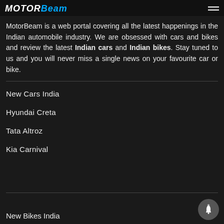MOTORBEAM
MotorBeam is a web portal covering all the latest happenings in the Indian automobile industry. We are obsessed with cars and bikes and review the latest Indian cars and Indian bikes. Stay tuned to us and you will never miss a single news on your favourite car or bike.
New Cars India
Hyundai Creta
Tata Altroz
Kia Carnival
New Bikes India